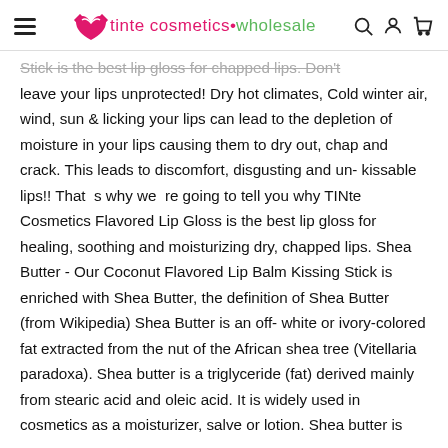tinte cosmetics • wholesale
Stick is the best lip gloss for chapped lips. Don't leave your lips unprotected! Dry hot climates, Cold winter air, wind, sun & licking your lips can lead to the depletion of moisture in your lips causing them to dry out, chap and crack. This leads to discomfort, disgusting and un- kissable lips!! That  s why we  re going to tell you why TINte Cosmetics Flavored Lip Gloss is the best lip gloss for healing, soothing and moisturizing dry, chapped lips. Shea Butter - Our Coconut Flavored Lip Balm Kissing Stick is enriched with Shea Butter, the definition of Shea Butter (from Wikipedia) Shea Butter is an off- white or ivory-colored fat extracted from the nut of the African shea tree (Vitellaria paradoxa). Shea butter is a triglyceride (fat) derived mainly from stearic acid and oleic acid. It is widely used in cosmetics as a moisturizer, salve or lotion. Shea butter is edible and is used in food preparation in Africa. Flavor - Our Coconut Flavored Lip Balm Kissing Stick has a great flavor of coconut